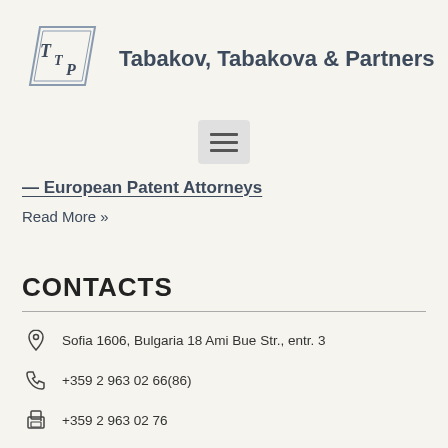[Figure (logo): TTP logo with diagonal parallelogram shape and letters T, T, P inside]
Tabakov, Tabakova & Partners
[Figure (other): Hamburger menu icon button (three horizontal lines)]
— European Patent Attorneys
Read More »
CONTACTS
Sofia 1606, Bulgaria 18 Ami Bue Str., entr. 3
+359 2 963 02 66(86)
+359 2 963 02 76
office@tabakovi.bg